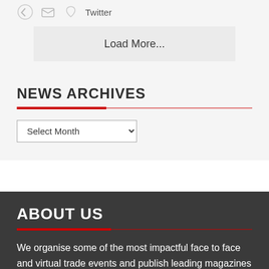Twitter
Load More...
NEWS ARCHIVES
Select Month
ABOUT US
We organise some of the most impactful face to face and virtual trade events and publish leading magazines and websites that bring Africa to the World and the World to Africa. We believe that when people come